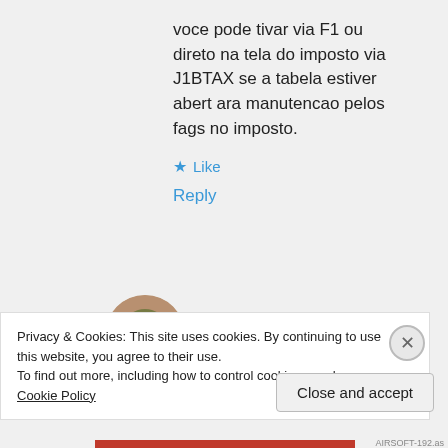voce pode tivar via F1 ou direto na tela do imposto via J1BTAX se a tabela estiver aberta manutencao pelos fags no imposto.
Like
Reply
[Figure (photo): Round avatar photo of a person, brownish tones with decorative background]
Daniel
April 20, 2017 at 2:50 pm
Privacy & Cookies: This site uses cookies. By continuing to use this website, you agree to their use.
To find out more, including how to control cookies, see here: Cookie Policy
Close and accept